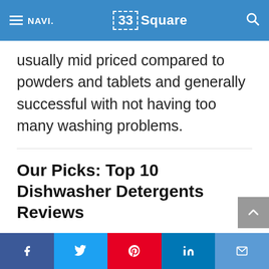≡ NAVI.   33 Square   🔍
usually mid priced compared to powders and tablets and generally successful with not having too many washing problems.
Our Picks: Top 10 Dishwasher Detergents Reviews
Best Overall Dishwasher…
f  t  p  in  ✉